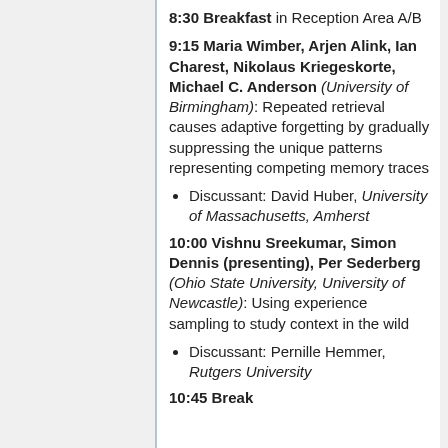8:30 Breakfast in Reception Area A/B
9:15 Maria Wimber, Arjen Alink, Ian Charest, Nikolaus Kriegeskorte, Michael C. Anderson (University of Birmingham): Repeated retrieval causes adaptive forgetting by gradually suppressing the unique patterns representing competing memory traces
Discussant: David Huber, University of Massachusetts, Amherst
10:00 Vishnu Sreekumar, Simon Dennis (presenting), Per Sederberg (Ohio State University, University of Newcastle): Using experience sampling to study context in the wild
Discussant: Pernille Hemmer, Rutgers University
10:45 Break